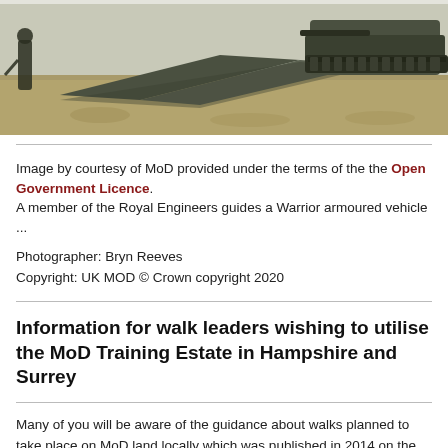[Figure (photo): A member of the Royal Engineers guides a Warrior armoured vehicle on a military training estate, with ramp panels in the foreground and dry grass surroundings.]
Image by courtesy of MoD provided under the terms of the the Open Government Licence.
A member of the Royal Engineers guides a Warrior armoured vehicle ...
Photographer: Bryn Reeves
Copyright: UK MOD © Crown copyright 2020
Information for walk leaders wishing to utilise the MoD Training Estate in Hampshire and Surrey
Many of you will be aware of the guidance about walks planned to take place on MoD land locally which was published in 2014 on the Hampshire and Surrey Area websites. Needless to say, after more than 6 years this advice needs updating.
This guidance updates and replaces the 2014 version.